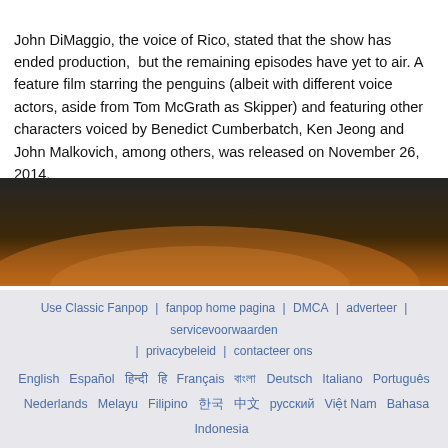John DiMaggio, the voice of Rico, stated that the show has ended production,  but the remaining episodes have yet to air. A feature film starring the penguins (albeit with different voice actors, aside from Tom McGrath as Skipper) and featuring other characters voiced by Benedict Cumberbatch, Ken Jeong and John Malkovich, among others, was released on November 26, 2014.
[Figure (photo): Dark cinematic background image with warm golden/orange tones at the bottom, resembling a sunset or dramatic scene backdrop]
Use Classic Fanpop | fanpop home pagina | DMCA | adverteer | servicevoorwaarden | privacybeleid | contacteer ons
English | Español | हिन्दी | हि | Français | বাংলা | Deutsch | Italiano | Português | Nederlands | Melayu | Filipino | 한국 | 中文 | русский | Việt Nam | Bahasa Indonesia | Kiswahili | اردو
Powered with HADRON by Revel
© 2006-2022 Fanpop, Inc., alle rechten voorbehouden. een lid van Townsquare Entertainment News